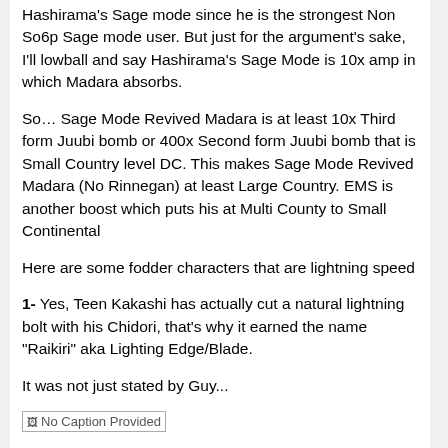Hashirama's Sage mode since he is the strongest Non So6p Sage mode user. But just for the argument's sake, I'll lowball and say Hashirama's Sage Mode is 10x amp in which Madara absorbs.
So… Sage Mode Revived Madara is at least 10x Third form Juubi bomb or 400x Second form Juubi bomb that is Small Country level DC. This makes Sage Mode Revived Madara (No Rinnegan) at least Large Country. EMS is another boost which puts his at Multi County to Small Continental
Here are some fodder characters that are lightning speed
1- Yes, Teen Kakashi has actually cut a natural lightning bolt with his Chidori, that's why it earned the name "Raikiri" aka Lighting Edge/Blade.
It was not just stated by Guy...
[Figure (photo): No Caption Provided - broken/missing image placeholder]
...but also confirmed in the Official Databook.